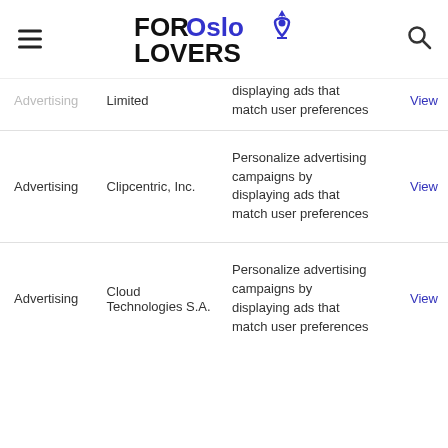FOR Oslo LOVERS
| Category | Name | Description | Link |
| --- | --- | --- | --- |
| Advertising | Limited | displaying ads that match user preferences | View |
| Advertising | Clipcentric, Inc. | Personalize advertising campaigns by displaying ads that match user preferences | View |
| Advertising | Cloud Technologies S.A. | Personalize advertising campaigns by displaying ads that match user preferences | View |